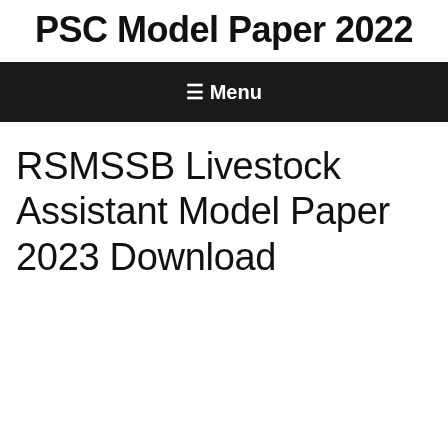PSC Model Paper 2022
☰ Menu
RSMSSB Livestock Assistant Model Paper 2023 Download